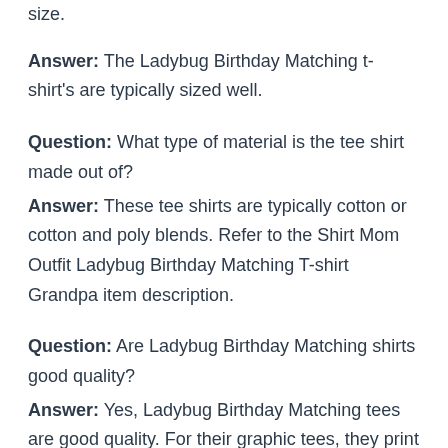size.
Answer: The Ladybug Birthday Matching t-shirt's are typically sized well.
Question: What type of material is the tee shirt made out of?
Answer: These tee shirts are typically cotton or cotton and poly blends. Refer to the Shirt Mom Outfit Ladybug Birthday Matching T-shirt Grandpa item description.
Question: Are Ladybug Birthday Matching shirts good quality?
Answer: Yes, Ladybug Birthday Matching tees are good quality. For their graphic tees, they print their designs on top quality blank t-shirts.
Question: How should I wash a Ladybug Birthday Matching